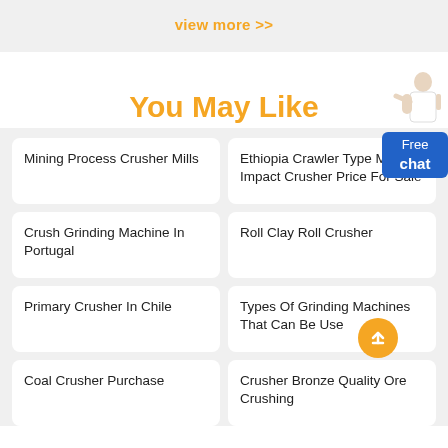view more >>
You May Like
Mining Process Crusher Mills
Ethiopia Crawler Type Mobile Impact Crusher Price For Sale
Crush Grinding Machine In Portugal
Roll Clay Roll Crusher
Primary Crusher In Chile
Types Of Grinding Machines That Can Be Use
Coal Crusher Purchase
Crusher Bronze Quality Ore Crushing